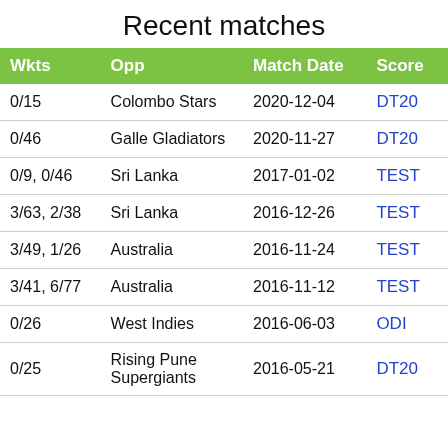Recent matches
| Wkts | Opp | Match Date | Score |
| --- | --- | --- | --- |
| 0/15 | Colombo Stars | 2020-12-04 | DT20 |
| 0/46 | Galle Gladiators | 2020-11-27 | DT20 |
| 0/9, 0/46 | Sri Lanka | 2017-01-02 | TEST |
| 3/63, 2/38 | Sri Lanka | 2016-12-26 | TEST |
| 3/49, 1/26 | Australia | 2016-11-24 | TEST |
| 3/41, 6/77 | Australia | 2016-11-12 | TEST |
| 0/26 | West Indies | 2016-06-03 | ODI |
| 0/25 | Rising Pune Supergiants | 2016-05-21 | DT20 |